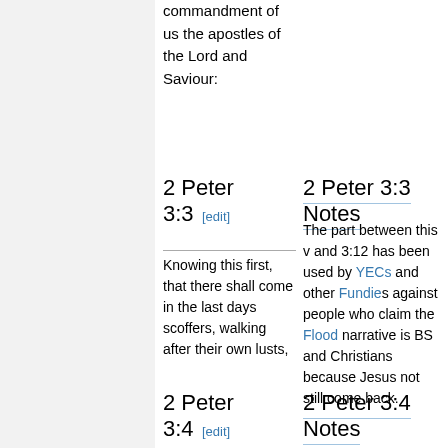commandment of us the apostles of the Lord and Saviour:
2 Peter 3:3 [edit]
2 Peter 3:3 Notes
Knowing this first, that there shall come in the last days scoffers, walking after their own lusts,
The part between this v and 3:12 has been used by YECs and other Fundies against people who claim the Flood narrative is BS and Christians because Jesus has not still come back.
2 Peter 3:4 [edit]
2 Peter 3:4 Notes